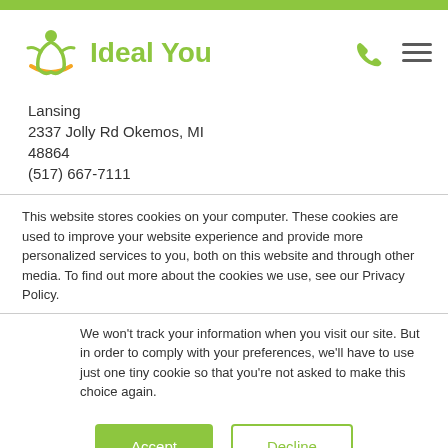[Figure (logo): Ideal You logo with green figure icon and orange accent, text reads 'Ideal You' in dark and green]
Lansing
2337 Jolly Rd Okemos, MI
48864
(517) 667-7111
This website stores cookies on your computer. These cookies are used to improve your website experience and provide more personalized services to you, both on this website and through other media. To find out more about the cookies we use, see our Privacy Policy.
We won't track your information when you visit our site. But in order to comply with your preferences, we'll have to use just one tiny cookie so that you're not asked to make this choice again.